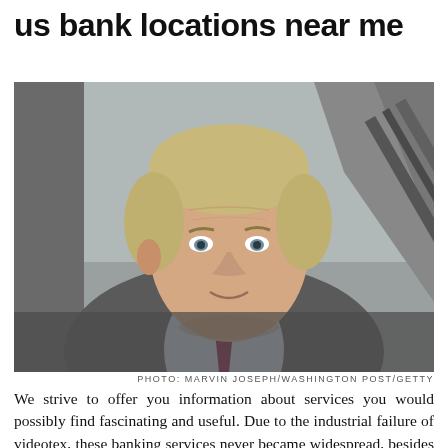us bank locations near me
[Figure (photo): Headshot of a middle-aged man with gray-blonde hair wearing a suit and tie, smiling slightly, with a modern interior background. Photo credit: MARVIN JOSEPH/WASHINGTON POST/GETTY]
PHOTO: MARVIN JOSEPH/WASHINGTON POST/GETTY
We strive to offer you information about services you would possibly find fascinating and useful. Due to the industrial failure of videotex, these banking services never became widespread, besides in France (the